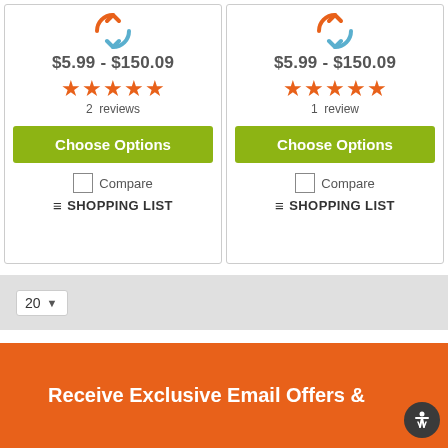[Figure (other): Left product card with reload icon, price $5.99 - $150.09, 5 star rating, 2 reviews, Choose Options button, Compare checkbox, and Shopping List link]
[Figure (other): Right product card with reload icon, price $5.99 - $150.09, 5 star rating, 1 review, Choose Options button, Compare checkbox, and Shopping List link]
20 (dropdown)
Receive Exclusive Email Offers &